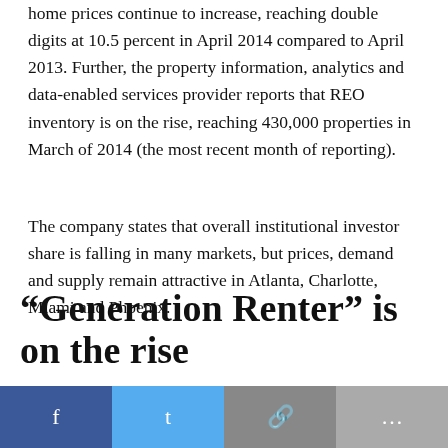home prices continue to increase, reaching double digits at 10.5 percent in April 2014 compared to April 2013. Further, the property information, analytics and data-enabled services provider reports that REO inventory is on the rise, reaching 430,000 properties in March of 2014 (the most recent month of reporting).
The company states that overall institutional investor share is falling in many markets, but prices, demand and supply remain attractive in Atlanta, Charlotte, Miami and Phoenix.
“Generation Renter” is on the rise
nist Sam r slower